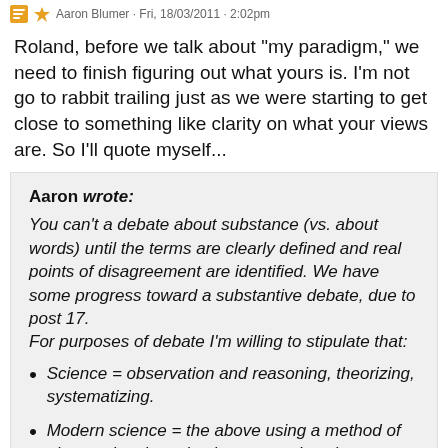Aaron Blumer · Fri, 18/03/2011 · 2:02pm
Roland, before we talk about "my paradigm," we need to finish figuring out what yours is. I'm not go to rabbit trailing just as we were starting to get close to something like clarity on what your views are. So I'll quote myself...
Aaron wrote: You can't a debate about substance (vs. about words) until the terms are clearly defined and real points of disagreement are identified. We have some progress toward a substantive debate, due to post 17. For purposes of debate I'm willing to stipulate that:
Science = observation and reasoning, theorizing, systematizing.
Modern science = the above using a method of observation, hypothesis, repeated testing, etc ending in laws and facts.
Modernistic paradigm = belief that observation